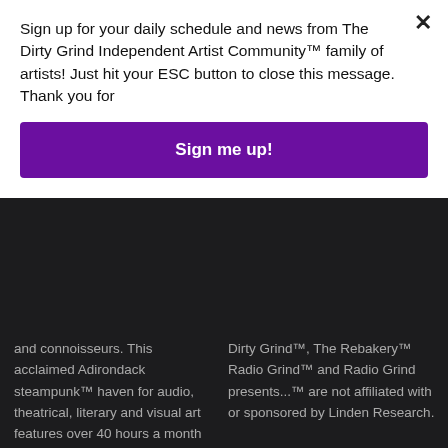Sign up for your daily schedule and news from The Dirty Grind Independent Artist Community™ family of artists! Just hit your ESC button to close this message. Thank you for
Sign me up!
and connoisseurs. This acclaimed Adirondack steampunk™ haven for audio, theatrical, literary and visual art features over 40 hours a month of eclectic, 100% live, professional recording artists that span from rock and pop to folk and jazz. Enjoy our 24/7
Dirty Grind™, The Rebakery™ Radio Grind™ and Radio Grind presents...™ are not affiliated with or sponsored by Linden Research.

The Dirty Grind Independent Artist Community™, Jasmine's Hollow™, The Dir...